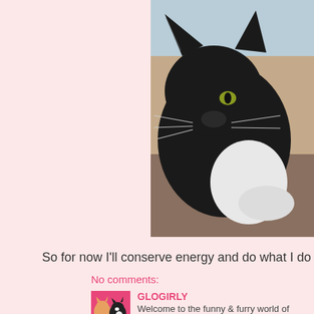[Figure (photo): A black and white long-haired cat lying down on a patterned surface, looking at the camera. The cat has prominent ear tufts and white chest fur.]
So for now I'll conserve energy and do what I do best.
No comments:
[Figure (photo): Small square avatar image with pink background showing two cats - one orange and one black and white.]
GLOGIRLY
Welcome to the funny & furry world of Waffles, Ellie, and